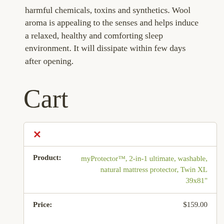harmful chemicals, toxins and synthetics. Wool aroma is appealing to the senses and helps induce a relaxed, healthy and comforting sleep environment. It will dissipate within few days after opening.
Cart
|  |  |
| --- | --- |
| × |  |
| Product: | myProtector™, 2-in-1 ultimate, washable, natural mattress protector, Twin XL 39x81" |
| Price: | $159.00 |
| Quantity: |  |